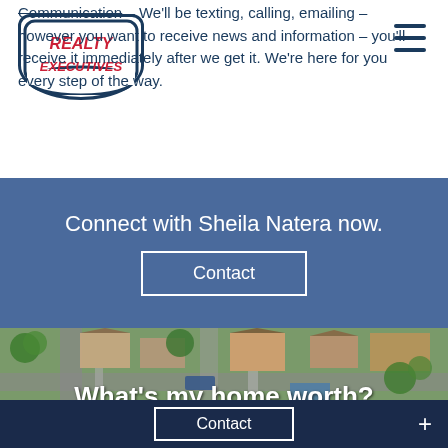[Figure (logo): Realty Executives logo - white shield/badge shape with red italic text reading REALTY EXECUTIVES]
Communication – We'll be texting, calling, emailing – however you want to receive news and information – you'll receive it immediately after we get it. We're here for you every step of the way.
Connect with Sheila Natera now.
Contact
[Figure (photo): Aerial drone view of suburban neighborhood with houses, driveways, trees, and a car parked on street]
What's my home worth?
Knowing your property's market value is a crucial step in determining its listing price. Your
Contact